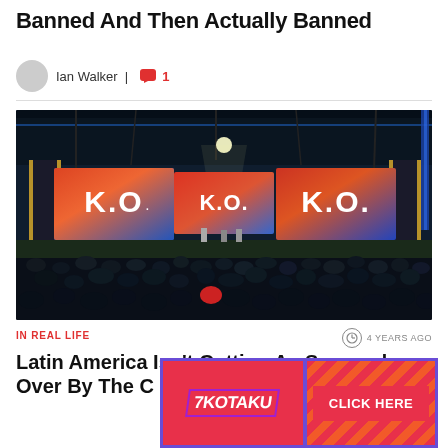Banned And Then Actually Banned
Ian Walker | 1
[Figure (photo): Esports event arena showing three large screens displaying 'K.O.' from Street Fighter, with a large audience silhouetted in the foreground]
IN REAL LIFE
4 YEARS AGO
Latin America Isn't Getting As Screwed Over By The C
[Figure (logo): Kotaku advertisement banner with Kotaku logo on left and CLICK HERE button on right, pink/red background with diagonal stripe pattern]